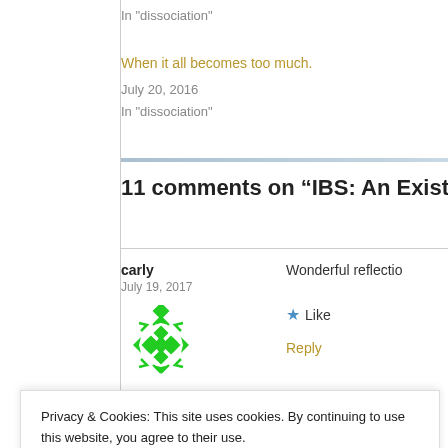In "dissociation"
When it all becomes too much.
July 20, 2016
In "dissociation"
11 comments on “IBS: An Existentia…”
carly
July 19, 2017
Wonderful reflectio…
Like
Reply
Privacy & Cookies: This site uses cookies. By continuing to use this website, you agree to their use.
To find out more, including how to control cookies, see here: Cookie Policy
Close and accept